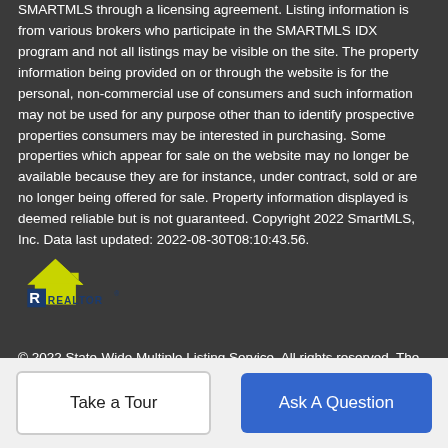SMARTMLS through a licensing agreement. Listing information is from various brokers who participate in the SMARTMLS IDX program and not all listings may be visible on the site. The property information being provided on or through the website is for the personal, non-commercial use of consumers and such information may not be used for any purpose other than to identify prospective properties consumers may be interested in purchasing. Some properties which appear for sale on the website may no longer be available because they are for instance, under contract, sold or are no longer being offered for sale. Property information displayed is deemed reliable but is not guaranteed. Copyright 2022 SmartMLS, Inc. Data last updated: 2022-08-30T08:10:43.56.
[Figure (logo): Realtor logo - house with R symbol and text REALTOR in blue and yellow-green]
© 2022 State-Wide Multiple Listing Service. All rights reserved. The data relating to real estate for sale or lease on this web site
now that Keller Realty and homes with the MLS and is the